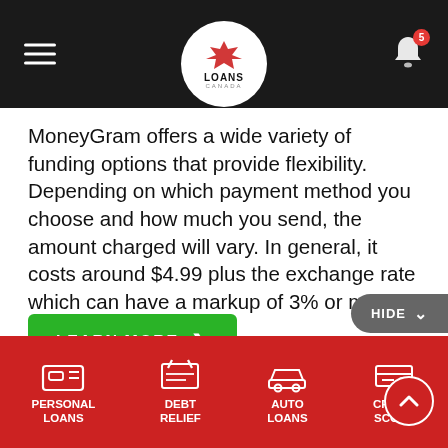Loans Canada — navigation header with logo and bell notification (5)
MoneyGram offers a wide variety of funding options that provide flexibility. Depending on which payment method you choose and how much you send, the amount charged will vary. In general, it costs around $4.99 plus the exchange rate which can have a markup of 3% or more.
[Figure (other): Green LEARN MORE button with right arrow chevron]
[Figure (other): Grey HIDE button with down chevron at bottom right]
PERSONAL LOANS | DEBT RELIEF | AUTO LOANS | CREDIT SCORE — red navigation footer bar with icons